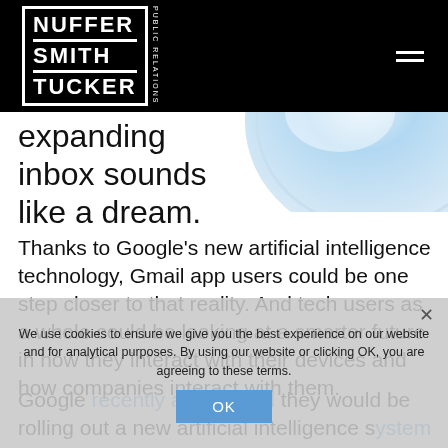NUFFER SMITH TUCKER PUBLIC RELATIONS
[Figure (illustration): Partial view of a Gmail-style blue circular icon/logo in the upper right area]
expanding inbox sounds like a dream.
Thanks to Google’s new artificial intelligence technology, Gmail app users could be one step closer to that reality. And tech users as a whole could be looking at a smarter future in how they interact with their devices and how companies interact with them.
Google recently announced they would be rolling out a new artificial intelligence system that will use what’s called “deep learning” to draft three short response options for your email conversations. By analyzing
We use cookies to ensure we give you the best experience on our website and for analytical purposes. By using our website or clicking OK, you are agreeing to these terms.